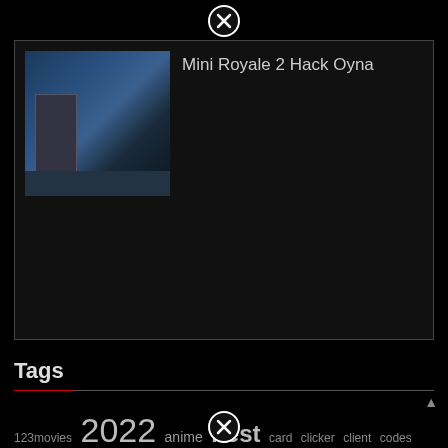[Figure (other): Close/dismiss button (circle with X) at top center]
[Figure (screenshot): Game screenshot thumbnail showing Mini Royale 2 shooter game scene with urban environment]
Mini Royale 2 Hack Oyna
Tags
123movies 2022 anime best card clicker client codes covid does download flash fortnite free full game games generator google hack hacked hacks home iphone live minecraft mobile
[Figure (other): Close/dismiss button (circle with X) at bottom center]